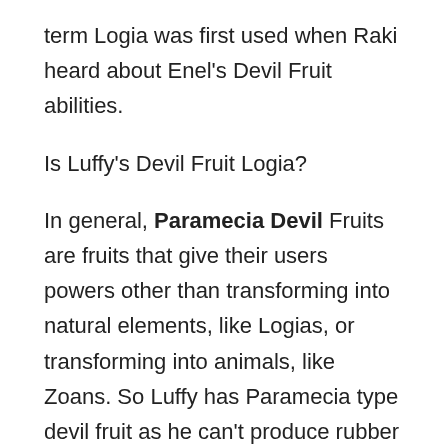term Logia was first used when Raki heard about Enel's Devil Fruit abilities.
Is Luffy's Devil Fruit Logia?
In general, Paramecia Devil Fruits are fruits that give their users powers other than transforming into natural elements, like Logias, or transforming into animals, like Zoans. So Luffy has Paramecia type devil fruit as he can't produce rubber and he can't control the surrounding rubber.